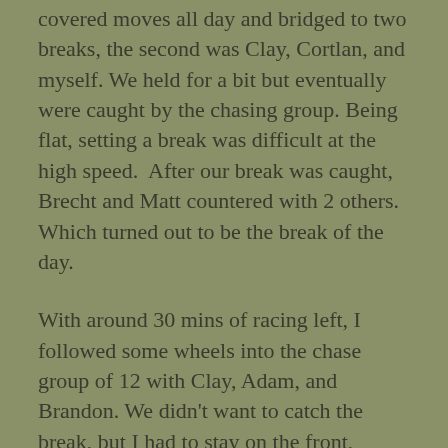covered moves all day and bridged to two breaks, the second was Clay, Cortlan, and myself. We held for a bit but eventually were caught by the chasing group. Being flat, setting a break was difficult at the high speed.  After our break was caught, Brecht and Matt countered with 2 others. Which turned out to be the break of the day.
With around 30 mins of racing left, I followed some wheels into the chase group of 12 with Clay, Adam, and Brandon. We didn't want to catch the break, but I had to stay on the front, rotating through so those guys could sit on, just in case they did catch. With around a lap to go I finally cracked, and hoped for the best.
Surprisingly the group of 12 caught the break right